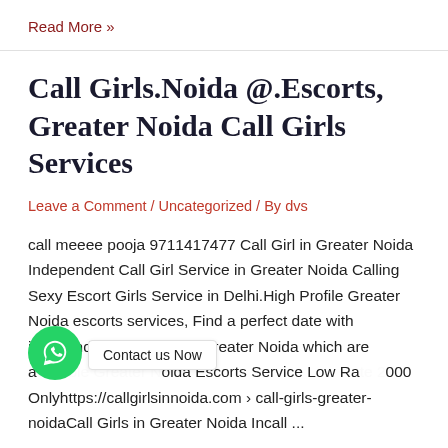Read More »
Call Girls.Noida @.Escorts, Greater Noida Call Girls Services
Leave a Comment / Uncategorized / By dvs
call meeee pooja 9711417477 Call Girl in Greater Noida Independent Call Girl Service in Greater Noida Calling Sexy Escort Girls Service in Delhi.High Profile Greater Noida escorts services, Find a perfect date with independent Call Girls in Greater Noida which are available Greater Noida Escorts Service Low Rate 2000 Onlyhttps://callgirlsinnoida.com › call-girls-greater-noidaCall Girls in Greater Noida Incall ...
Contact us Now